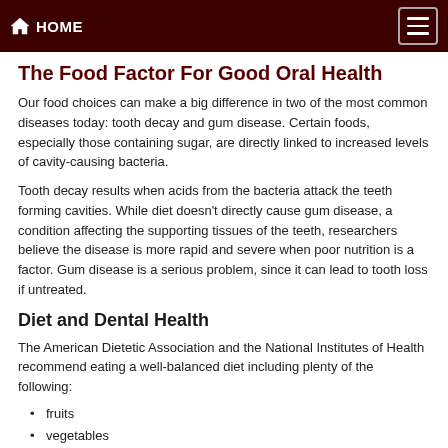HOME
The Food Factor For Good Oral Health
Our food choices can make a big difference in two of the most common diseases today: tooth decay and gum disease. Certain foods, especially those containing sugar, are directly linked to increased levels of cavity-causing bacteria.
Tooth decay results when acids from the bacteria attack the teeth forming cavities. While diet doesn't directly cause gum disease, a condition affecting the supporting tissues of the teeth, researchers believe the disease is more rapid and severe when poor nutrition is a factor. Gum disease is a serious problem, since it can lead to tooth loss if untreated.
Diet and Dental Health
The American Dietetic Association and the National Institutes of Health recommend eating a well-balanced diet including plenty of the following:
fruits
vegetables
variety of breads and grains